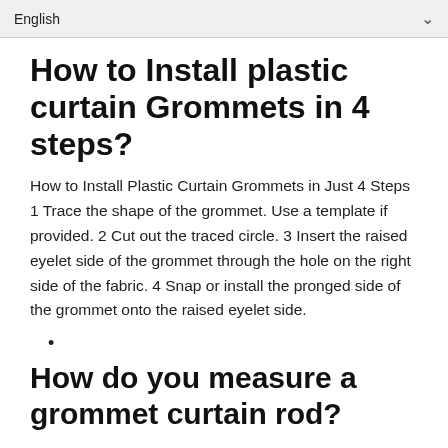English
How to Install plastic curtain Grommets in 4 steps?
How to Install Plastic Curtain Grommets in Just 4 Steps 1 Trace the shape of the grommet. Use a template if provided. 2 Cut out the traced circle. 3 Insert the raised eyelet side of the grommet through the hole on the right side of the fabric. 4 Snap or install the pronged side of the grommet onto the raised eyelet side.
How do you measure a grommet curtain rod?
Measure the grommet opening on your curtain panels, not including the metal rim, then subtract inch from that number. This is the maximum curtain rod diameter that you can choose.